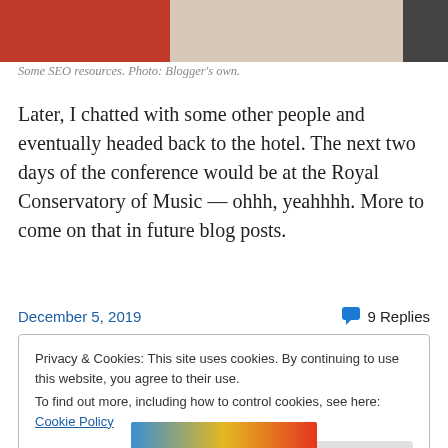[Figure (photo): Partial photo of SEO resources on a shelf, showing red and beige colored books/materials with ceiling lights visible]
Some SEO resources. Photo: Blogger’s own.
Later, I chatted with some other people and eventually headed back to the hotel. The next two days of the conference would be at the Royal Conservatory of Music — ohhh, yeahhhh. More to come on that in future blog posts.
December 5, 2019    💬 9 Replies
Privacy & Cookies: This site uses cookies. By continuing to use this website, you agree to their use.
To find out more, including how to control cookies, see here: Cookie Policy
Close and accept
[Figure (photo): Bottom partial image showing rainbow colors]